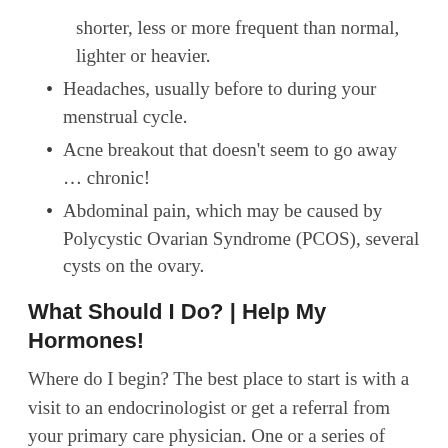shorter, less or more frequent than normal, lighter or heavier.
Headaches, usually before to during your menstrual cycle.
Acne breakout that doesn’t seem to go away … chronic!
Abdominal pain, which may be caused by Polycystic Ovarian Syndrome (PCOS), several cysts on the ovary.
What Should I Do? | Help My Hormones!
Where do I begin? The best place to start is with a visit to an endocrinologist or get a referral from your primary care physician. One or a series of tests will generally identify the cause.
Not all symptoms are due to a medical condition